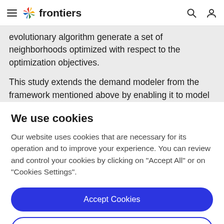frontiers
evolutionary algorithm generate a set of neighborhoods optimized with respect to the optimization objectives.
This study extends the demand modeler from the framework mentioned above by enabling it to model the
We use cookies
Our website uses cookies that are necessary for its operation and to improve your experience. You can review and control your cookies by clicking on "Accept All" or on "Cookies Settings".
Accept Cookies
Cookies Settings